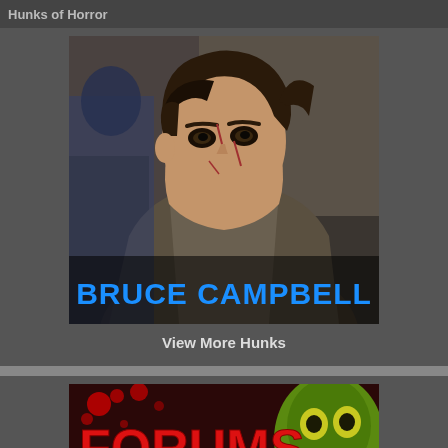Hunks of Horror
[Figure (photo): Close-up photo of Bruce Campbell looking intense, with cuts on his face, in a combat/action scene setting. Text overlay reads BRUCE CAMPBELL in bold blue letters.]
View More Hunks
[Figure (illustration): Horror-themed forums banner with red blood splatter background, a green zombie/skull creature illustration, large red text FORUMS, and green text JOIN THE DISCUSSION. A film strip runs along the bottom.]